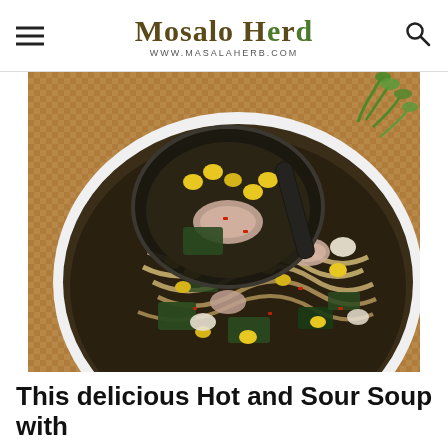Masala Herb — www.MasalaHerb.com
[Figure (photo): Close-up photo of a bowl of Hot and Sour Soup with noodles, sweet corn, mushrooms, seaweed pieces, and chili flakes, with a black ladle scooping the soup, garnished with fresh herbs, placed on a woven mat background.]
This delicious Hot and Sour Soup with
Noodles and Sweet Corn is a quick and easy one-pot vegetarian recipe, ready